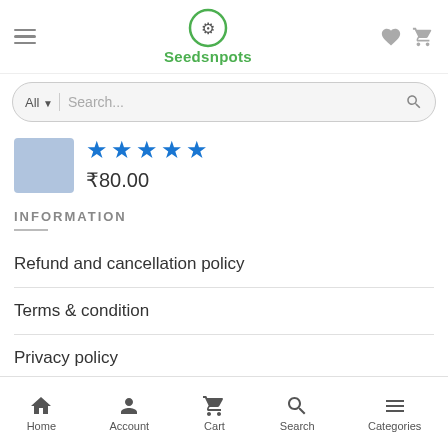[Figure (screenshot): Seedsnpots e-commerce mobile app screenshot showing logo, search bar, product rating stars, price, information section with links, and bottom navigation bar]
★★★★★
₹80.00
INFORMATION
Refund and cancellation policy
Terms & condition
Privacy policy
Home  Account  Cart  Search  Categories